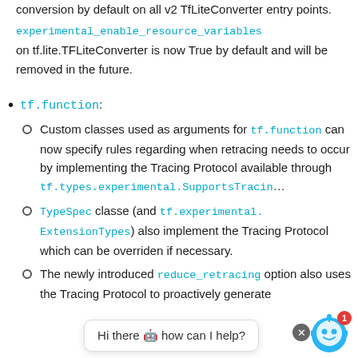conversion by default on all v2 TfLiteConverter entry points.
experimental_enable_resource_variables on tf.lite.TFLiteConverter is now True by default and will be removed in the future.
tf.function:
Custom classes used as arguments for tf.function can now specify rules regarding when retracing needs to occur by implementing the Tracing Protocol available through tf.types.experimental.SupportsTracing.
TypeSpec classes (and tf.experimental.ExtensionTypes) also implement the Tracing Protocol which can be overriden if necessary.
The newly introduced reduce_retracing option also uses the Tracing Protocol to proactively generate